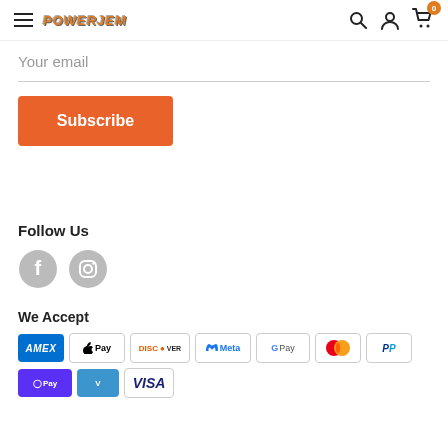POWERJAM header with hamburger menu, logo, search, account, and cart icons
Your email
Subscribe
Follow Us
[Figure (other): Facebook and Instagram social media icon buttons (grey circles with f and camera icons)]
We Accept
[Figure (other): Payment method icons: AMEX, Apple Pay, Discover, Meta Pay, Google Pay, Mastercard, PayPal, Shop Pay, Venmo, Visa]